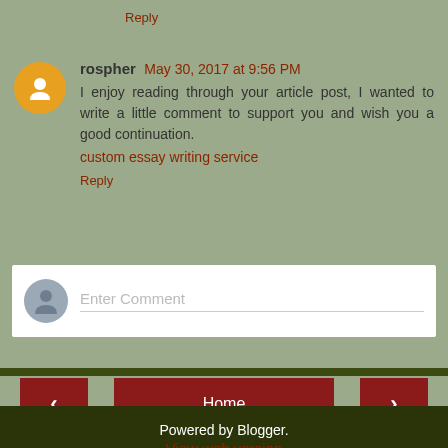Reply
rospher  May 30, 2017 at 9:56 PM
I enjoy reading through your article post, I wanted to write a little comment to support you and wish you a good continuation.
custom essay writing service
Reply
[Figure (screenshot): Comment input box with placeholder text 'Enter Comment' and a generic user avatar icon]
Home
View web version
Powered by Blogger.